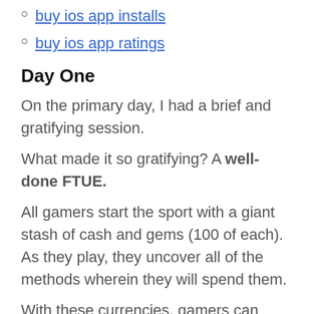buy ios app installs
buy ios app ratings
Day One
On the primary day, I had a brief and gratifying session.
What made it so gratifying? A well-done FTUE.
All gamers start the sport with a giant stash of cash and gems (100 of each). As they play, they uncover all of the methods wherein they will spend them.
With these currencies, gamers can play with